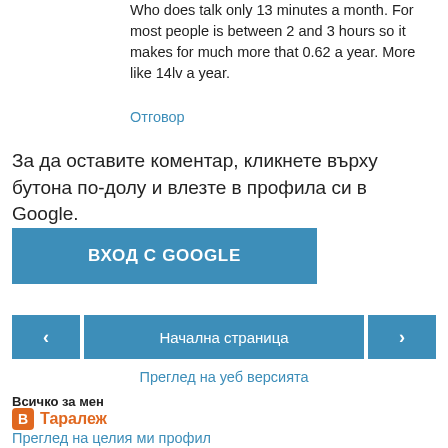Who does talk only 13 minutes a month. For most people is between 2 and 3 hours so it makes for much more that 0.62 a year. More like 14lv a year.
Отговор
За да оставите коментар, кликнете върху бутона по-долу и влезте в профила си в Google.
ВХОД С GOOGLE
‹
Начална страница
›
Преглед на уеб версията
Всичко за мен
Таралеж
Преглед на целия ми профил
Предоставено от Blogger.